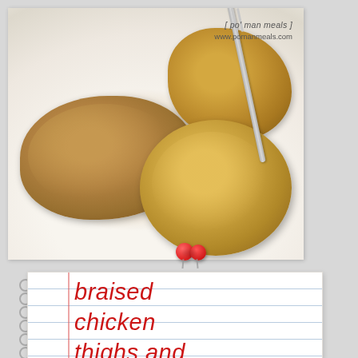[Figure (photo): Close-up photo of braised chicken thighs and roasted red potatoes on a white plate, with a fork visible. Watermark text '[po man meals]' and 'www.pomanmeals.com' in top right corner.]
braised chicken thighs and red potatoes